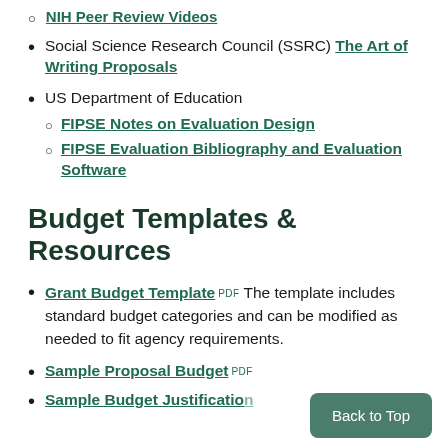NIH Peer Review Videos
Social Science Research Council (SSRC) The Art of Writing Proposals
US Department of Education
FIPSE Notes on Evaluation Design
FIPSE Evaluation Bibliography and Evaluation Software
Budget Templates & Resources
Grant Budget Template PDF The template includes standard budget categories and can be modified as needed to fit agency requirements.
Sample Proposal Budget PDF
Sample Budget Justificatio
Back to Top